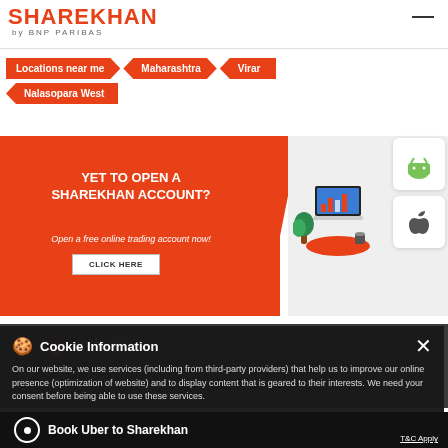Sharekhan by BNP PARIBAS
Locations near me > Maharashtra > Virar > Nalasopara West
[Figure (screenshot): Sharekhan promotional banner - YET TO OPEN A SHAREKHAN ACCOUNT? Open a free online trading account now! with CLICK HERE button and app store icons]
Cookie Information
On our website, we use services (including from third-party providers) that help us to improve our online presence (optimization of website) and to display content that is geared to their interests. We need your consent before being able to use these services.
Vasant Amin
603, Yashwant Gaurav Cplx, Fun Fiesta Rd, Vimal Residency
Nalasopara West
Book Uber to Sharekhan    T&C Apply